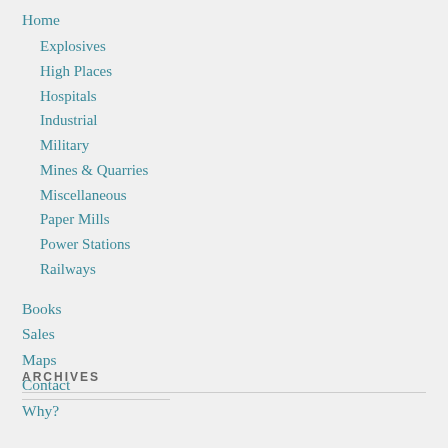Home
Explosives
High Places
Hospitals
Industrial
Military
Mines & Quarries
Miscellaneous
Paper Mills
Power Stations
Railways
Books
Sales
Maps
Contact
Why?
ARCHIVES